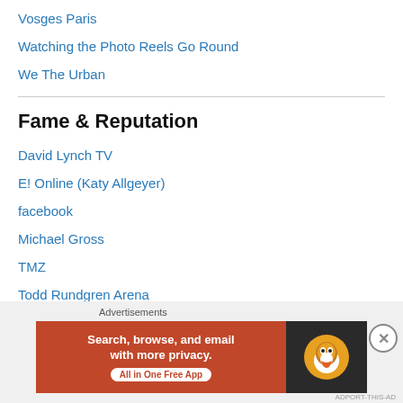Vosges Paris
Watching the Photo Reels Go Round
We The Urban
Fame & Reputation
David Lynch TV
E! Online (Katy Allgeyer)
facebook
Michael Gross
TMZ
Todd Rundgren Arena
Health & Family
[Figure (other): DuckDuckGo advertisement banner: Search, browse, and email with more privacy. All in One Free App.]